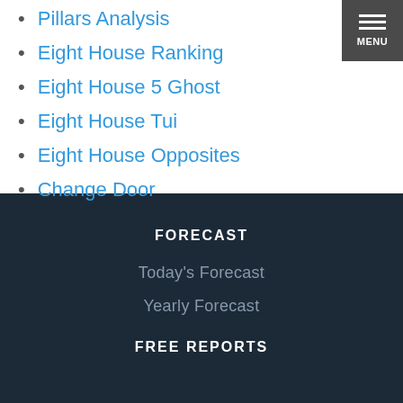Pillars Analysis
Eight House Ranking
Eight House 5 Ghost
Eight House Tui
Eight House Opposites
Change Door
FORECAST
Today's Forecast
Yearly Forecast
FREE REPORTS